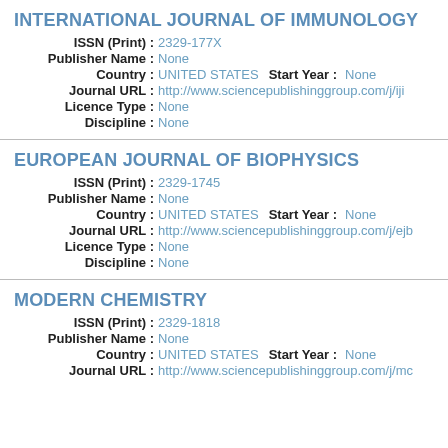INTERNATIONAL JOURNAL OF IMMUNOLOGY
ISSN (Print) : 2329-177X
Publisher Name : None
Country : UNITED STATES   Start Year : None
Journal URL : http://www.sciencepublishinggroup.com/j/iji
Licence Type : None
Discipline : None
EUROPEAN JOURNAL OF BIOPHYSICS
ISSN (Print) : 2329-1745
Publisher Name : None
Country : UNITED STATES   Start Year : None
Journal URL : http://www.sciencepublishinggroup.com/j/ejb
Licence Type : None
Discipline : None
MODERN CHEMISTRY
ISSN (Print) : 2329-1818
Publisher Name : None
Country : UNITED STATES   Start Year : None
Journal URL : http://www.sciencepublishinggroup.com/j/mc